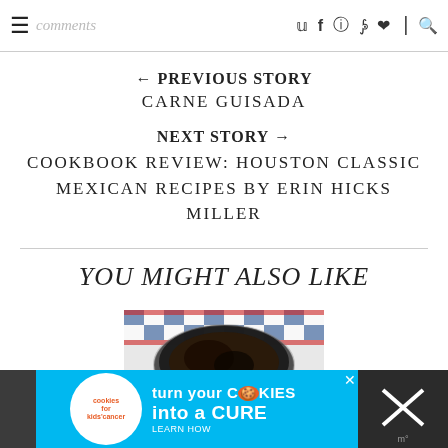comments
← PREVIOUS STORY
CARNE GUISADA
NEXT STORY →
COOKBOOK REVIEW: HOUSTON CLASSIC MEXICAN RECIPES BY ERIN HICKS MILLER
YOU MIGHT ALSO LIKE
[Figure (photo): Food photo showing a dark dish on a blue and red checkered tablecloth]
[Figure (infographic): Advertisement banner: cookies for kids cancer - turn your cookies into a CURE - LEARN HOW]